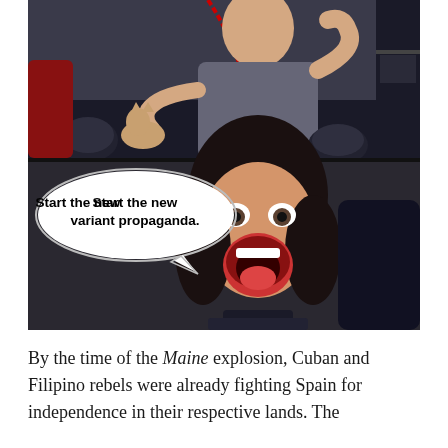[Figure (photo): Two-panel meme image. Top panel: a man in a grey outfit (Dr. Evil parody character) sitting at a desk with a red telephone, holding a hairless cat. Bottom panel: a woman with mouth wide open in shock/yelling. Speech bubble from bottom panel reads: 'Start the new variant propaganda.']
By the time of the Maine explosion, Cuban and Filipino rebels were already fighting Spain for independence in their respective lands. The